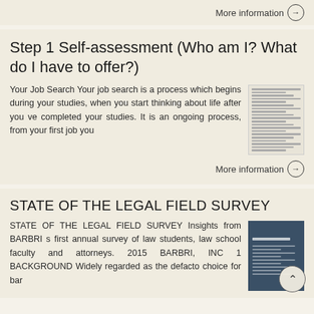More information →
Step 1 Self-assessment (Who am I? What do I have to offer?)
Your Job Search Your job search is a process which begins during your studies, when you start thinking about life after you ve completed your studies. It is an ongoing process, from your first job you
More information →
STATE OF THE LEGAL FIELD SURVEY
STATE OF THE LEGAL FIELD SURVEY Insights from BARBRI s first annual survey of law students, law school faculty and attorneys. 2015 BARBRI, INC 1 BACKGROUND Widely regarded as the defacto choice for bar